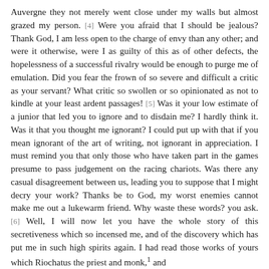Auvergne they not merely went close under my walls but almost grazed my person. [4] Were you afraid that I should be jealous? Thank God, I am less open to the charge of envy than any other; and were it otherwise, were I as guilty of this as of other defects, the hopelessness of a successful rivalry would be enough to purge me of emulation. Did you fear the frown of so severe and difficult a critic as your servant? What critic so swollen or so opinionated as not to kindle at your least ardent passages! [5] Was it your low estimate of a junior that led you to ignore and to disdain me? I hardly think it. Was it that you thought me ignorant? I could put up with that if you mean ignorant of the art of writing, not ignorant in appreciation. I must remind you that only those who have taken part in the games presume to pass judgement on the racing chariots. Was there any casual disagreement between us, leading you to suppose that I might decry your work? Thanks be to God, my worst enemies cannot make me out a lukewarm friend. Why waste these words? you ask. [6] Well, I will now let you have the whole story of this secretiveness which so incensed me, and of the discovery which has put me in such high spirits again. I had read those works of yours which Riochatus the priest and monk,1 and |190 thus twice a stranger and pilgrim in this world, was taking back for you to your Bretons; for you, who may well be called Faustus to-day, since you cannot grow old, since you will always live in the mouths of men, and after your bodily death, attain immortality by your works. The venerable man made some stay in